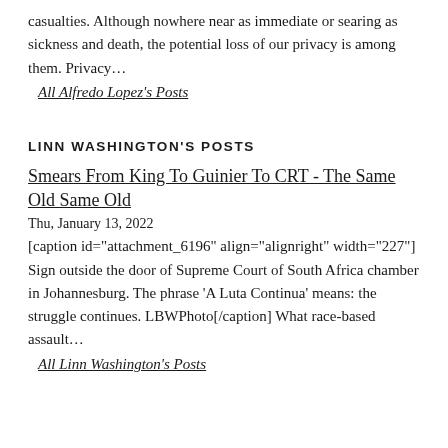casualties. Although nowhere near as immediate or searing as sickness and death, the potential loss of our privacy is among them. Privacy…
All Alfredo Lopez's Posts
LINN WASHINGTON'S POSTS
Smears From King To Guinier To CRT - The Same Old Same Old
Thu, January 13, 2022
[caption id="attachment_6196" align="alignright" width="227"] Sign outside the door of Supreme Court of South Africa chamber in Johannesburg. The phrase 'A Luta Continua' means: the struggle continues. LBWPhoto[/caption] What race-based assault…
All Linn Washington's Posts